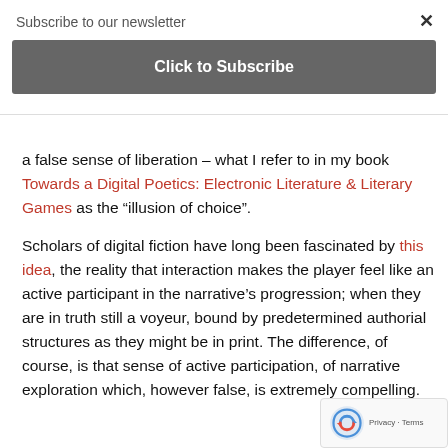Subscribe to our newsletter
Click to Subscribe
a false sense of liberation – what I refer to in my book Towards a Digital Poetics: Electronic Literature & Literary Games as the “illusion of choice”.

Scholars of digital fiction have long been fascinated by this idea, the reality that interaction makes the player feel like an active participant in the narrative’s progression; when they are in truth still a voyeur, bound by predetermined authorial structures as they might be in print. The difference, of course, is that sense of active participation, of narrative exploration which, however false, is extremely compelling.